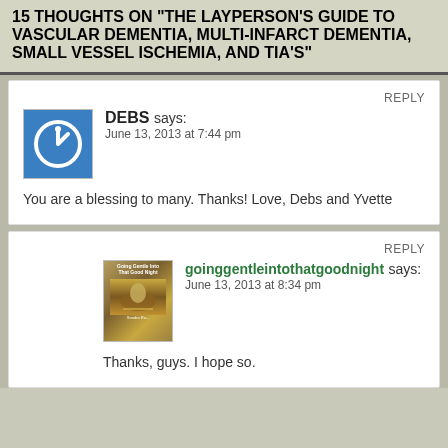15 THOUGHTS ON "THE LAYPERSON'S GUIDE TO VASCULAR DEMENTIA, MULTI-INFARCT DEMENTIA, SMALL VESSEL ISCHEMIA, AND TIA'S"
REPLY
DEBS says:
June 13, 2013 at 7:44 pm
You are a blessing to many. Thanks! Love, Debs and Yvette
REPLY
goinggentleintothatgoodnight says:
June 13, 2013 at 8:34 pm
Thanks, guys. I hope so.